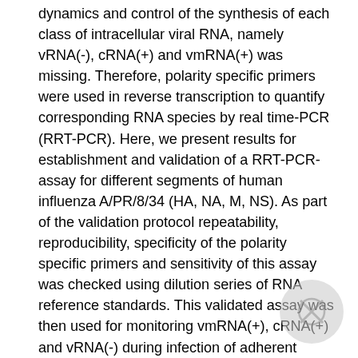dynamics and control of the synthesis of each class of intracellular viral RNA, namely vRNA(-), cRNA(+) and vmRNA(+) was missing. Therefore, polarity specific primers were used in reverse transcription to quantify corresponding RNA species by real time-PCR (RRT-PCR). Here, we present results for establishment and validation of a RRT-PCR-assay for different segments of human influenza A/PR/8/34 (HA, NA, M, NS). As part of the validation protocol repeatability, reproducibility, specificity of the polarity specific primers and sensitivity of this assay was checked using dilution series of RNA reference standards. This validated assay was then used for monitoring vmRNA(+), cRNA(+) and vRNA(-) during infection of adherent MDCK cells. Determination of the intracellular RNA concentrations showed significant differences in viral transcription and replication dynamics. Based on the high quality of quantitative data obtained, validation of mathematical models describing virus-host cell interactions is facilitated significantly. [1] Sidorenko, Y. and Reichl, U. (2004): Structured model of influenza virus replication in MDCK cells, Biotechnology and Bioengineering, 88(1), 1-14